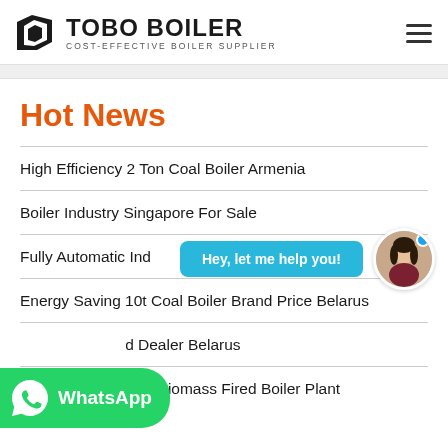TOBO BOILER — COST-EFFECTIVE BOILER SUPPLIER
Hot News
High Efficiency 2 Ton Coal Boiler Armenia
Boiler Industry Singapore For Sale
Fully Automatic Indu... [partially obscured] ...er ... a
Energy Saving 10t Coal Boiler Brand Price Belarus
...d Dealer Belarus
Commercial 20 Ton Biomass Fired Boiler Plant